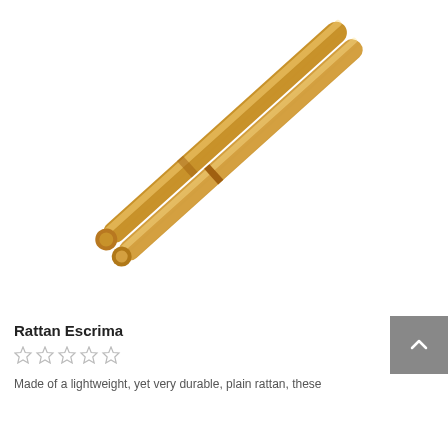[Figure (photo): Two rattan escrima sticks (bamboo/rattan fighting sticks) photographed diagonally on a white background, showing the natural golden-brown wood grain texture.]
Rattan Escrima
★★★★☆ (star rating display, approximately 1-2 stars filled)
Made of a lightweight, yet very durable, plain rattan, these